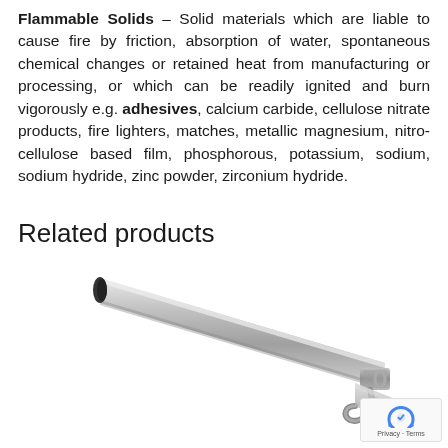Flammable Solids – Solid materials which are liable to cause fire by friction, absorption of water, spontaneous chemical changes or retained heat from manufacturing or processing, or which can be readily ignited and burn vigorously e.g. adhesives, calcium carbide, cellulose nitrate products, fire lighters, matches, metallic magnesium, nitro-cellulose based film, phosphorous, potassium, sodium, sodium hydride, zinc powder, zirconium hydride.
Related products
[Figure (photo): A metal torch or blowtorch nozzle/gun tool photographed on white background, showing a cylindrical barrel angled diagonally with a handle mechanism at the lower right.]